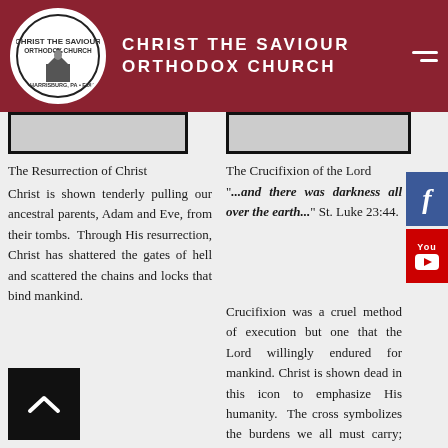CHRIST THE SAVIOUR ORTHODOX CHURCH
[Figure (illustration): Image placeholder for Resurrection of Christ icon]
The Resurrection of Christ
Christ is shown tenderly pulling our ancestral parents, Adam and Eve, from their tombs. Through His resurrection, Christ has shattered the gates of hell and scattered the chains and locks that bind mankind.
[Figure (illustration): Image placeholder for Crucifixion of the Lord icon]
The Crucifixion of the Lord
"...and there was darkness all over the earth..." St. Luke 23:44.
Crucifixion was a cruel method of execution but one that the Lord willingly endured for mankind. Christ is shown dead in this icon to emphasize His humanity. The cross symbolizes the burdens we all must carry; and has